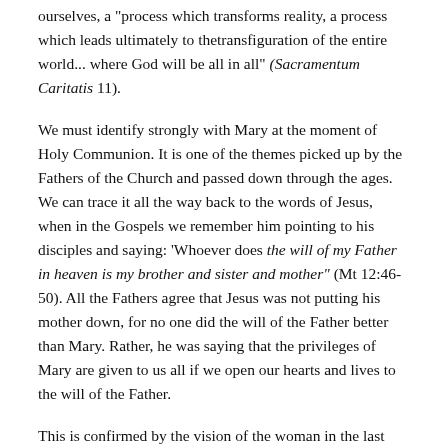ourselves, a "process which transforms reality, a process which leads ultimately to thetransfiguration of the entire world... where God will be all in all" (Sacramentum Caritatis 11).
We must identify strongly with Mary at the moment of Holy Communion. It is one of the themes picked up by the Fathers of the Church and passed down through the ages. We can trace it all the way back to the words of Jesus, when in the Gospels we remember him pointing to his disciples and saying: 'Whoever does the will of my Father in heaven is my brother and sister and mother" (Mt 12:46-50). All the Fathers agree that Jesus was not putting his mother down, for no one did the will of the Father better than Mary. Rather, he was saying that the privileges of Mary are given to us all if we open our hearts and lives to the will of the Father.
This is confirmed by the vision of the woman in the last book of the Bible, the Apocalypse, where in chapter 12 we hear of a Woman clothed with the Son and crowned with 12 stars. The "woman" is creation bringing forth the incarnate Son of God. She is Mary bringing forth Christ, and she is the Church which continues to bring forth Christ through history. In other words, she is us! The idea of Christ needing to be carried, born in us